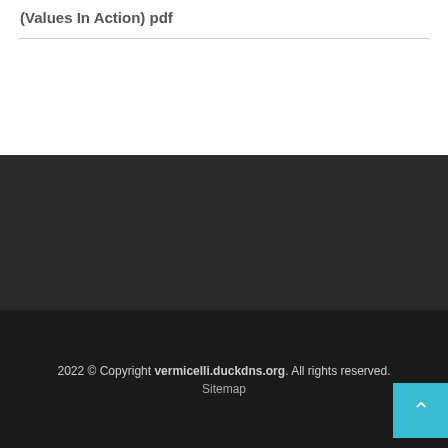(Values In Action) pdf
2022 © Copyright vermicelli.duckdns.org. All rights reserved. Sitemap